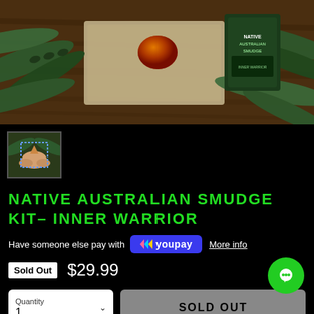[Figure (photo): Top-down view of fern leaves, crystals/stones on burlap fabric, and a dark green product package on a wooden surface]
[Figure (photo): Small thumbnail image showing hands holding smudge kit items with fern leaves]
NATIVE AUSTRALIAN SMUDGE KIT– INNER WARRIOR
Have someone else pay with YouPay  More info
Sold Out  $29.99
Quantity 1  SOLD OUT